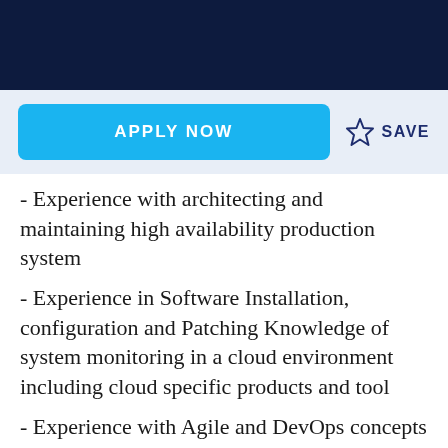[Figure (other): Dark navy blue header bar at the top of the page]
APPLY NOW
SAVE
- Experience with architecting and maintaining high availability production system
- Experience in Software Installation, configuration and Patching Knowledge of system monitoring in a cloud environment including cloud specific products and tool
- Experience with Agile and DevOps concepts Developing monitoring architecture and implementing monitoring agents, dashboards, escalations, and alert